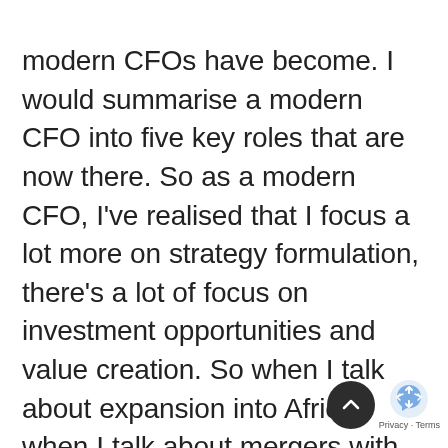modern CFOs have become. I would summarise a modern CFO into five key roles that are now there. So as a modern CFO, I've realised that I focus a lot more on strategy formulation, there's a lot of focus on investment opportunities and value creation. So when I talk about expansion into Africa, when I talk about mergers with businesses that are aligned to our vision and mission, so those are the sort of investment opportunities that create value that the modern CFO looks at a lot more. We have become the custodians of the structure and the sustainability of the organisation. So always making sure that your product offering guarantees that sustainability